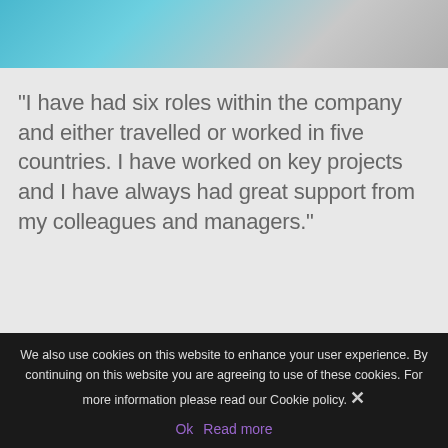[Figure (photo): Partial view of a person wearing a bright blue/teal top, cropped at the top of the frame — only shoulder and neck area visible against a blue background.]
“I have had six roles within the company and either travelled or worked in five countries. I have worked on key projects and I have always had great support from my colleagues and managers.”
John Osment,
We also use cookies on this website to enhance your user experience. By continuing on this website you are agreeing to use of these cookies. For more information please read our Cookie policy.
Ok   Read more